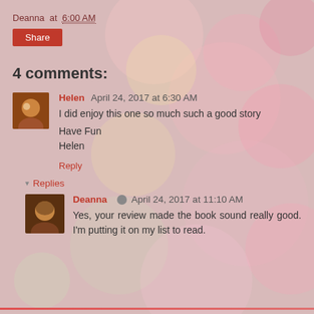Deanna at 6:00 AM
Share
4 comments:
Helen  April 24, 2017 at 6:30 AM
I did enjoy this one so much such a good story

Have Fun
Helen
Reply
▾ Replies
Deanna  April 24, 2017 at 11:10 AM
Yes, your review made the book sound really good. I'm putting it on my list to read.